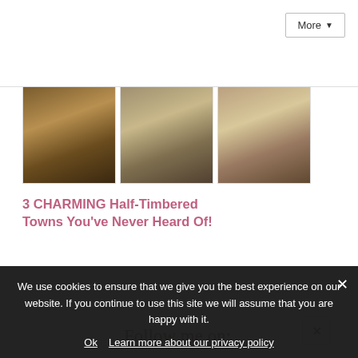[Figure (screenshot): Top navigation bar with More dropdown button]
[Figure (photo): Three thumbnail photos of half-timbered European towns]
3 CHARMING Half-Timbered Towns You've Never Heard Of!
April 10, 2017
Follow me on:
[Figure (infographic): Social media icons: Facebook, Instagram, Pinterest, Twitter, Bloglovin, RSS in pink outlined circles]
Or sign up to my newsletter
We use cookies to ensure that we give you the best experience on our website. If you continue to use this site we will assume that you are happy with it.
Ok  Learn more about our privacy policy